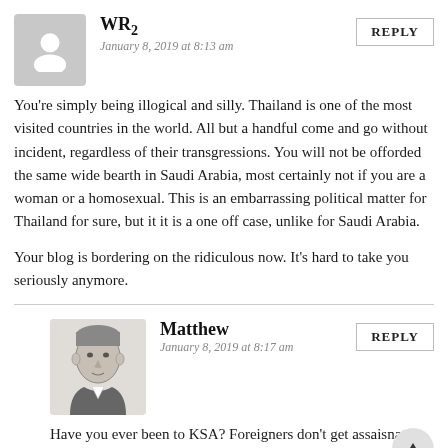WR2
January 8, 2019 at 8:13 am
You're simply being illogical and silly. Thailand is one of the most visited countries in the world. All but a handful come and go without incident, regardless of their transgressions. You will not be offorded the same wide bearth in Saudi Arabia, most certainly not if you are a woman or a homosexual. This is an embarrassing political matter for Thailand for sure, but it it is a one off case, unlike for Saudi Arabia.

Your blog is bordering on the ridiculous now. It's hard to take you seriously anymore.
Matthew
January 8, 2019 at 8:17 am
Have you ever been to KSA? Foreigners don't get assaisnated or kidnapped in Saudi airports.